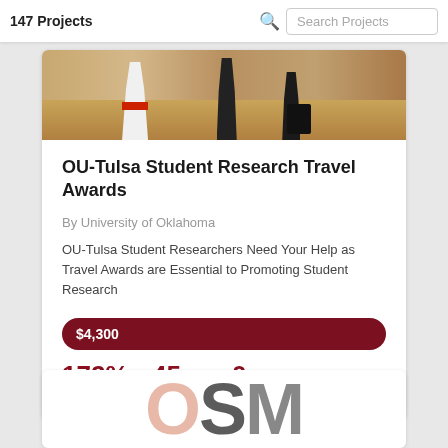147 Projects  Search Projects
[Figure (photo): Photo of people walking in a hallway, showing lower bodies and legs on a wooden floor]
OU-Tulsa Student Research Travel Awards
By University of Oklahoma
OU-Tulsa Student Researchers Need Your Help as Travel Awards are Essential to Promoting Student Research
$4,300
172% Funded   45 Donors   0 days left
[Figure (logo): Partial view of OSM logo text in large letters, O in pink/salmon, S and M in grey]